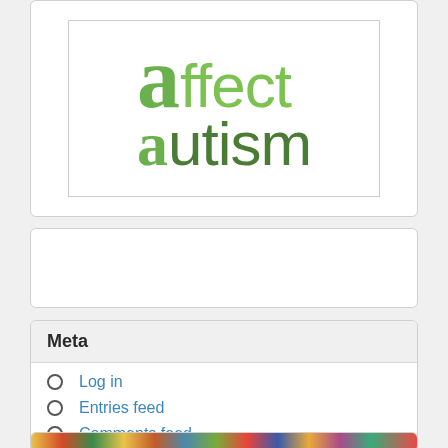[Figure (logo): Affect Autism logo — large stylized 'a' in green followed by 'ffect' and 'autism' in green sans-serif text]
Meta
Log in
Entries feed
Comments feed
WordPress.org